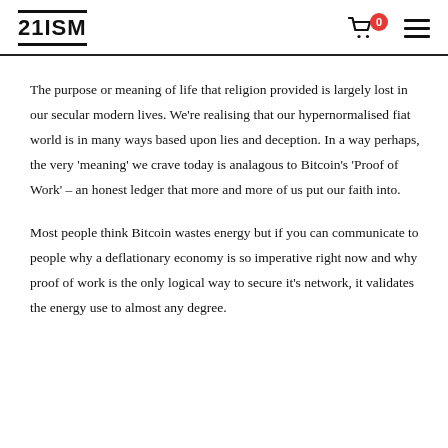21ISM
The purpose or meaning of life that religion provided is largely lost in our secular modern lives. We're realising that our hypernormalised fiat world is in many ways based upon lies and deception. In a way perhaps, the very 'meaning' we crave today is analagous to Bitcoin's 'Proof of Work' – an honest ledger that more and more of us put our faith into.
Most people think Bitcoin wastes energy but if you can communicate to people why a deflationary economy is so imperative right now and why proof of work is the only logical way to secure it's network, it validates the energy use to almost any degree.